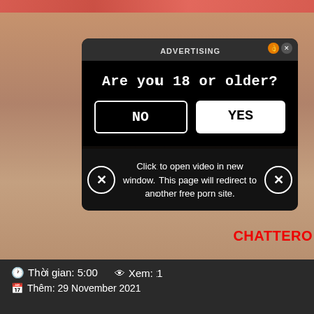[Figure (screenshot): Screenshot of an adult website with an age verification popup overlay. The popup has a dark background and reads 'Are you 18 or older?' with NO and YES buttons. Below is a redirect notice. Background shows a partially visible person. Bottom right shows 'CHATTERO' branding logo.]
ADVERTISING
Are you 18 or older?
NO
YES
Click to open video in new window. This page will redirect to another free porn site.
CHATTERO
Thời gian: 5:00   Xem: 1
Thêm: 29 November 2021